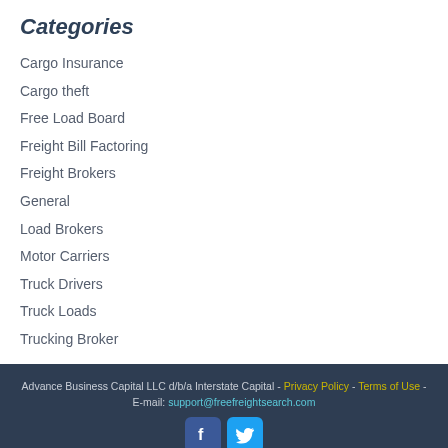Categories
Cargo Insurance
Cargo theft
Free Load Board
Freight Bill Factoring
Freight Brokers
General
Load Brokers
Motor Carriers
Truck Drivers
Truck Loads
Trucking Broker
Advance Business Capital LLC d/b/a Interstate Capital - Privacy Policy - Terms of Use - E-mail: support@freefreightsearch.com  Load Board Resources